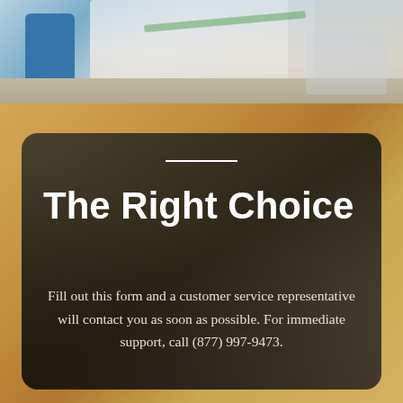[Figure (photo): Business meeting photo showing people at a table with tablets/documents, blue chairs visible]
The Right Choice
Fill out this form and a customer service representative will contact you as soon as possible. For immediate support, call (877) 997-9473.